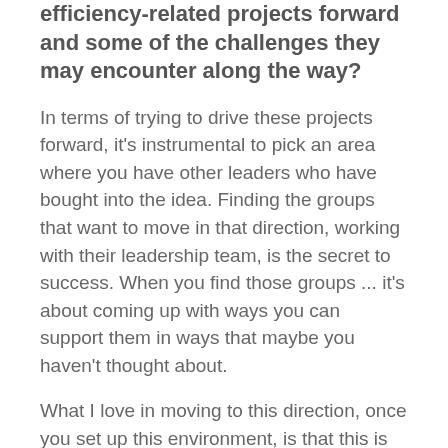efficiency-related projects forward and some of the challenges they may encounter along the way?
In terms of trying to drive these projects forward, it's instrumental to pick an area where you have other leaders who have bought into the idea. Finding the groups that want to move in that direction, working with their leadership team, is the secret to success. When you find those groups ... it's about coming up with ways you can support them in ways that maybe you haven't thought about.
What I love in moving to this direction, once you set up this environment, is that this is being taken and driven outside of IT. That's when you know you've got a success; when something is taken ownership of by the